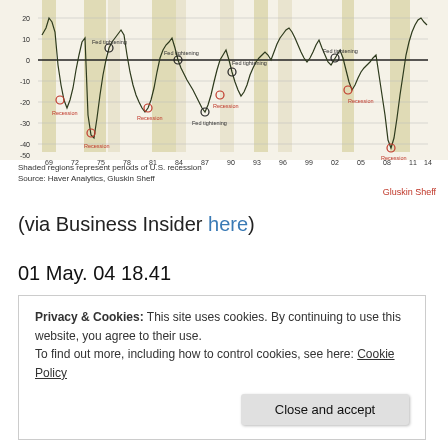[Figure (continuous-plot): Line chart showing economic data from 1969 to 2014, with shaded vertical bands marking U.S. recessions and Fed tightening periods. The y-axis ranges from -50 to 20. Multiple recession and Fed tightening labels are annotated with circles on the line. The line dips sharply during recessions. Source: Haver Analytics, Gluskin Sheff.]
Shaded regions represent periods of U.S. recession
Source: Haver Analytics, Gluskin Sheff
Gluskin Sheff
(via Business Insider here)
01 May. 04 18.41
Privacy & Cookies: This site uses cookies. By continuing to use this website, you agree to their use.
To find out more, including how to control cookies, see here: Cookie Policy
Close and accept